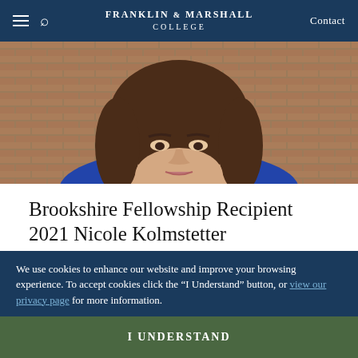Franklin & Marshall College — Contact
[Figure (photo): Portrait photo of Nicole Kolmstetter, a woman with brown hair wearing a blue top, with a brick wall background.]
Brookshire Fellowship Recipient 2021 Nicole Kolmstetter
NICOLE KOLMSTETTER Nicole majored in Psychology (graduating with honors) and minored in Anthropology. This summer, Nicole will be presenting her honors thesis (Brookshire project) at the
We use cookies to enhance our website and improve your browsing experience. To accept cookies click the “I Understand” button, or view our privacy page for more information.
I UNDERSTAND